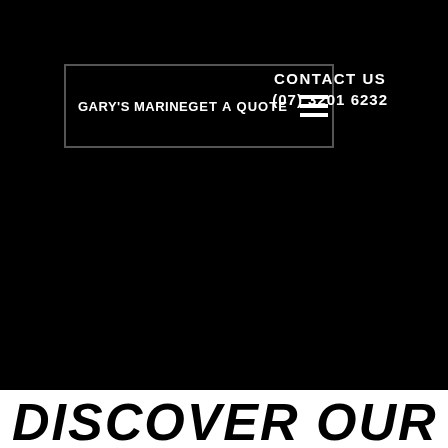GARY'S MARINE  GET A QUOTE  [menu]  CONTACT US  (07) 3201 6232
DISCOVER OUR